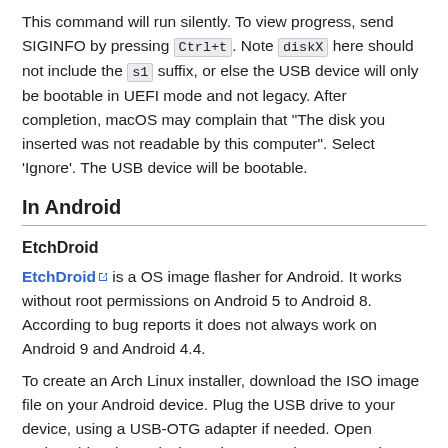This command will run silently. To view progress, send SIGINFO by pressing Ctrl+t. Note diskX here should not include the s1 suffix, or else the USB device will only be bootable in UEFI mode and not legacy. After completion, macOS may complain that "The disk you inserted was not readable by this computer". Select 'Ignore'. The USB device will be bootable.
In Android
EtchDroid
EtchDroid is a OS image flasher for Android. It works without root permissions on Android 5 to Android 8. According to bug reports it does not always work on Android 9 and Android 4.4.
To create an Arch Linux installer, download the ISO image file on your Android device. Plug the USB drive to your device, using a USB-OTG adapter if needed. Open EtchDroid, select "Flash raw image", select your Arch ISO, then select your USB drive. Grant the USB API permission and confirm.
Keep your phone on a table while it is writing the image: a lot of